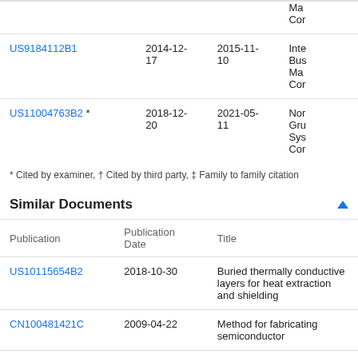| Publication | Date Filed | Date of Patent | Assignee |
| --- | --- | --- | --- |
|  |  |  | Ma
Cor |
| US9184112B1 | 2014-12-17 | 2015-11-10 | Inte
Bus
Ma
Cor |
| US11004763B2 * | 2018-12-20 | 2021-05-11 | Nor
Gru
Sys
Cor |
* Cited by examiner, † Cited by third party, ‡ Family to family citation
Similar Documents
| Publication | Publication Date | Title |
| --- | --- | --- |
| US10115654B2 | 2018-10-30 | Buried thermally conductive layers for heat extraction and shielding |
| CN100481421C | 2009-04-22 | Method for fabricating semiconductor |